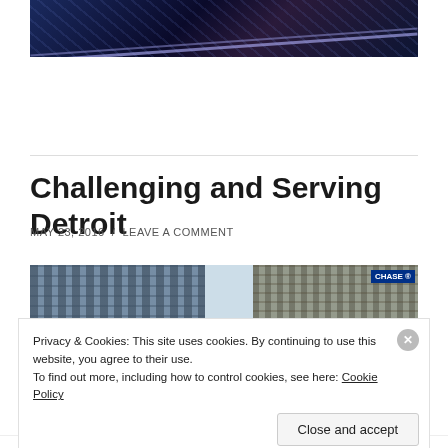[Figure (photo): Dark blue/purple toned photo of what appears to be rail lines or a bridge structure at night]
Challenging and Serving Detroit
MAY 23, 2016  /  LEAVE A COMMENT
[Figure (photo): Photo of Detroit downtown buildings including a Chase bank building with trees in the foreground]
Privacy & Cookies: This site uses cookies. By continuing to use this website, you agree to their use.
To find out more, including how to control cookies, see here: Cookie Policy
Close and accept